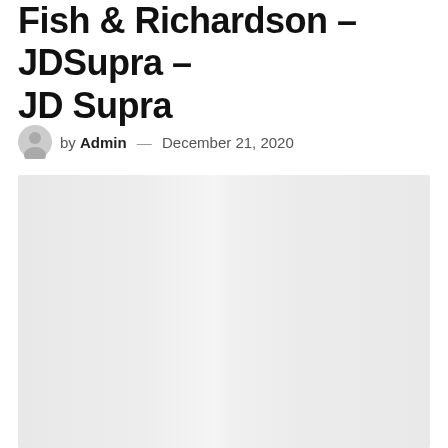Fish & Richardson – JDSupra – JD Supra
by Admin — December 21, 2020
[Figure (photo): Large light gray placeholder image area, representing an embedded document or screenshot preview]